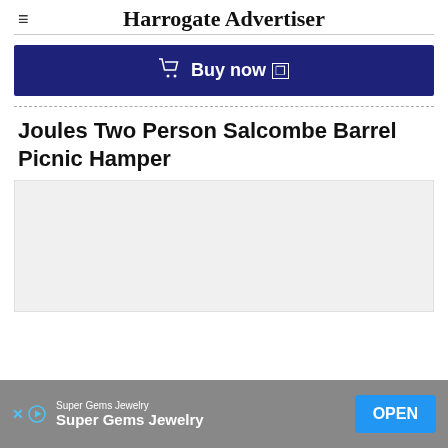Harrogate Advertiser
[Figure (other): Buy now button bar with shopping cart icon and external link icon on dark navy background]
Joules Two Person Salcombe Barrel Picnic Hamper
[Figure (photo): Light gray image placeholder area]
[Figure (other): Advertisement bar: Super Gems Jewelry with OPEN button]